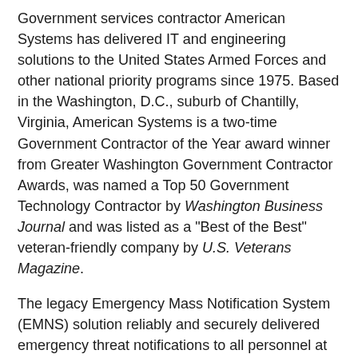Government services contractor American Systems has delivered IT and engineering solutions to the United States Armed Forces and other national priority programs since 1975. Based in the Washington, D.C., suburb of Chantilly, Virginia, American Systems is a two-time Government Contractor of the Year award winner from Greater Washington Government Contractor Awards, was named a Top 50 Government Technology Contractor by Washington Business Journal and was listed as a "Best of the Best" veteran-friendly company by U.S. Veterans Magazine.
The legacy Emergency Mass Notification System (EMNS) solution reliably and securely delivered emergency threat notifications to all personnel at all USAF locations on a 24 hour/7 day-a-week basis. However, the network of systems — which supported approximately 700,000 users, including service members, their families, and dependents—required hardware installations at individual major commands (MAJCOM) and military bases. The U.S. Air Force (USAF) realized that licensing, hardware, and maintenance costs could be outfitting the whole business to the EMNS...